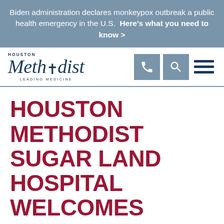Biden administration declares monkeypox outbreak a public health emergency in the U.S. Here's what you need to know >
[Figure (logo): Houston Methodist Leading Medicine logo with phone, search, and menu navigation icons]
HOUSTON METHODIST SUGAR LAND HOSPITAL WELCOMES LEADING CARDIOTHORACIC SURGEON MORITZ C. WYLER VON BALLMOOS, M.D., PH.D.